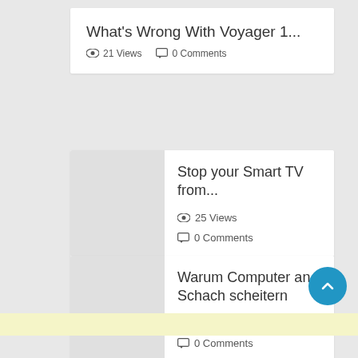What's Wrong With Voyager 1...
👁 21 Views  💬 0 Comments
Stop your Smart TV from...
👁 25 Views
💬 0 Comments
Warum Computer an Schach scheitern
👁 28 Views
💬 0 Comments